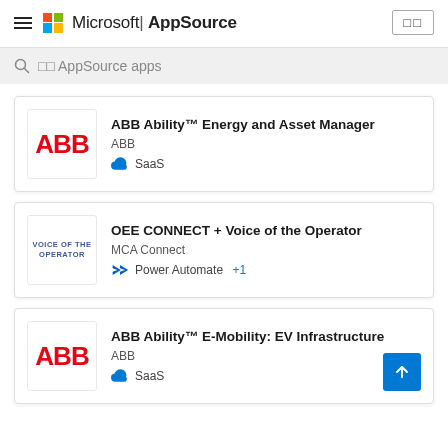Microsoft | AppSource
□□ AppSource apps
ABB Ability™ Energy and Asset Manager
ABB
SaaS
OEE CONNECT + Voice of the Operator
MCA Connect
Power Automate +1
ABB Ability™ E-Mobility: EV Infrastructure
ABB
SaaS